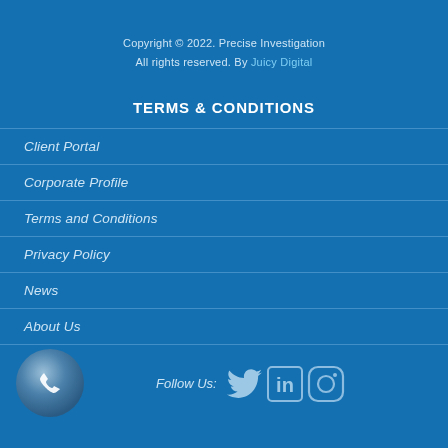Copyright © 2022. Precise Investigation
All rights reserved. By Juicy Digital
TERMS & CONDITIONS
Client Portal
Corporate Profile
Terms and Conditions
Privacy Policy
News
About Us
[Figure (infographic): Follow Us section with phone icon circle and social media icons: Twitter bird, LinkedIn 'in', Instagram camera outline]
Follow Us: